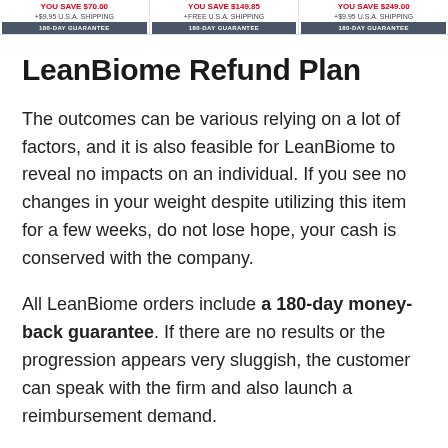[Figure (screenshot): Three product pricing cards showing savings, shipping info, and 180-day guarantee banners in red and dark colors]
LeanBiome Refund Plan
The outcomes can be various relying on a lot of factors, and it is also feasible for LeanBiome to reveal no impacts on an individual. If you see no changes in your weight despite utilizing this item for a few weeks, do not lose hope, your cash is conserved with the company.
All LeanBiome orders include a 180-day money-back guarantee. If there are no results or the progression appears very sluggish, the customer can speak with the firm and also launch a reimbursement demand.